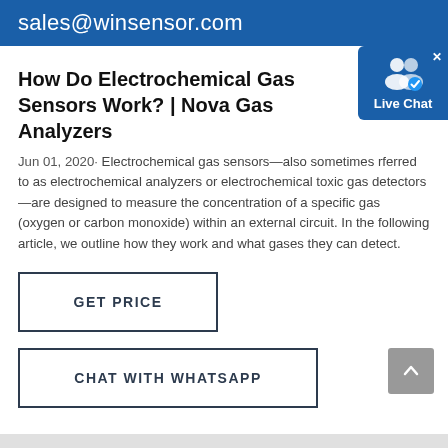sales@winsensor.com
How Do Electrochemical Gas Sensors Work? | Nova Gas Analyzers
Jun 01, 2020· Electrochemical gas sensors—also sometimes referred to as electrochemical analyzers or electrochemical toxic gas detectors—are designed to measure the concentration of a specific gas (oxygen or carbon monoxide) within an external circuit. In the following article, we outline how they work and what gases they can detect.
GET PRICE
CHAT WITH WHATSAPP